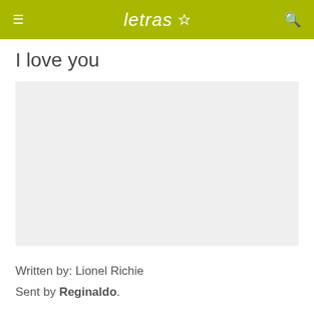letras
I love you
[Figure (other): Advertisement placeholder block, light gray background, empty]
Written by: Lionel Richie
Sent by Reginaldo.